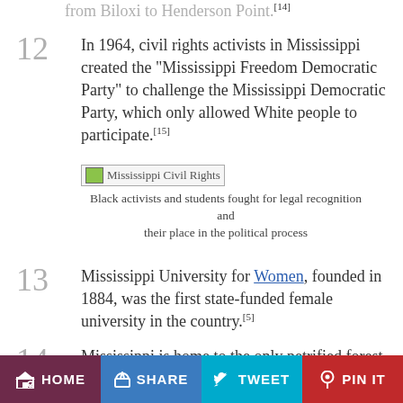from Biloxi to Henderson Point.[14]
In 1964, civil rights activists in Mississippi created the "Mississippi Freedom Democratic Party" to challenge the Mississippi Democratic Party, which only allowed White people to participate.[15]
[Figure (photo): Mississippi Civil Rights - image placeholder showing Black activists and students]
Black activists and students fought for legal recognition and their place in the political process
Mississippi University for Women, founded in 1884, was the first state-funded female university in the country.[5]
Mississippi is home to the only petrified forest in the Eastern United States.[8]
HOME   SHARE   TWEET   PIN IT